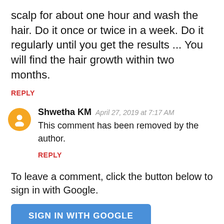scalp for about one hour and wash the hair. Do it once or twice in a week. Do it regularly until you get the results ... You will find the hair growth within two months.
REPLY
Shwetha KM  April 27, 2019 at 7:17 AM
This comment has been removed by the author.
REPLY
To leave a comment, click the button below to sign in with Google.
SIGN IN WITH GOOGLE